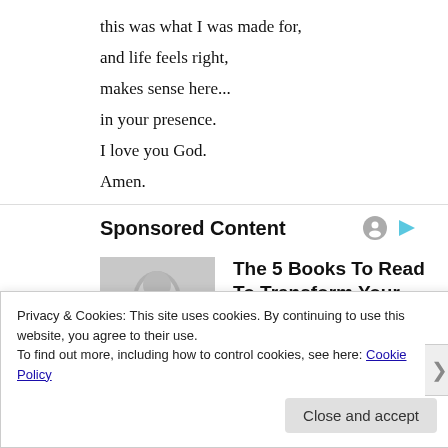this was what I was made for,
and life feels right,
makes sense here...
in your presence.
I love you God.
Amen.
Sponsored Content
[Figure (photo): Grayscale photo of a person wearing glasses]
The 5 Books To Read To Transform Your Life in 2022
Blinkist
Privacy & Cookies: This site uses cookies. By continuing to use this website, you agree to their use.
To find out more, including how to control cookies, see here: Cookie Policy